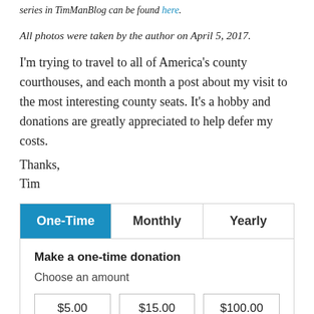series in TimManBlog can be found here.
All photos were taken by the author on April 5, 2017.
I'm trying to travel to all of America's county courthouses, and each month a post about my visit to the most interesting county seats. It's a hobby and donations are greatly appreciated to help defer my costs.
Thanks,
Tim
| One-Time | Monthly | Yearly |
| --- | --- | --- |
| Make a one-time donation

Choose an amount

$5.00   $15.00   $100.00 |  |  |